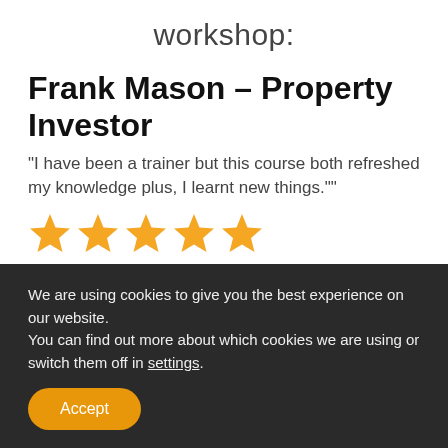workshop:
Frank Mason – Property Investor
"I have been a trainer but this course both refreshed my knowledge plus, I learnt new things.""
[Figure (other): Five gold star rating icons]
We are using cookies to give you the best experience on our website.
You can find out more about which cookies we are using or switch them off in settings.
Accept